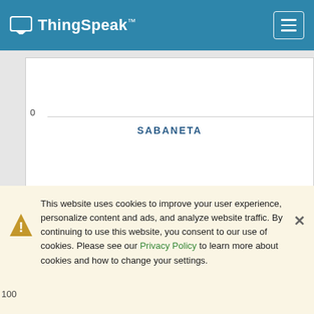ThingSpeak™
[Figure (continuous-plot): Partial chart showing y-axis value 0 and a horizontal gridline, with centered label SABANETA and ThingSpeak.com watermark]
Field 5 Chart
[Figure (continuous-plot): Partial chart showing title 'Promedio 24h PM2.5' and y-axis value 100 with horizontal gridline]
This website uses cookies to improve your user experience, personalize content and ads, and analyze website traffic. By continuing to use this website, you consent to our use of cookies. Please see our Privacy Policy to learn more about cookies and how to change your settings.